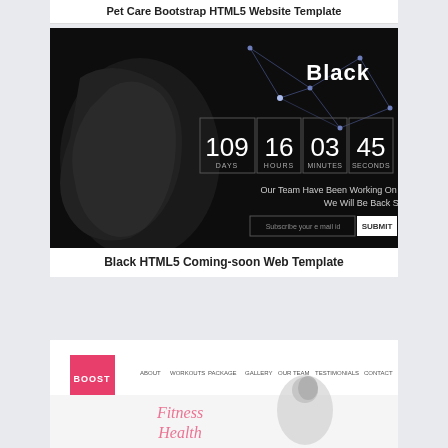Pet Care Bootstrap HTML5 Website Template
[Figure (screenshot): Black HTML5 Coming-soon Web Template screenshot showing a dark themed page with a face silhouette, geometric network pattern, countdown timer showing 109 DAYS, 16 HOURS, 03 MINUTES, 45 SECONDS, text 'Our Team Have Been Working On Something Amazing We Will Be Back Soon.' and an email subscribe input with SUBMIT button. 'Black' logo in top right.]
Black HTML5 Coming-soon Web Template
[Figure (screenshot): Boost fitness HTML5 website template screenshot showing a pink square logo labeled BOOST, navigation bar with ABOUT, WORKOUTS, PACKAGE, GALLERY, OUR TEAM, TESTIMONIALS, CONTACT, and a hero section with text 'Fitness Health' and a woman in athletic wear.]